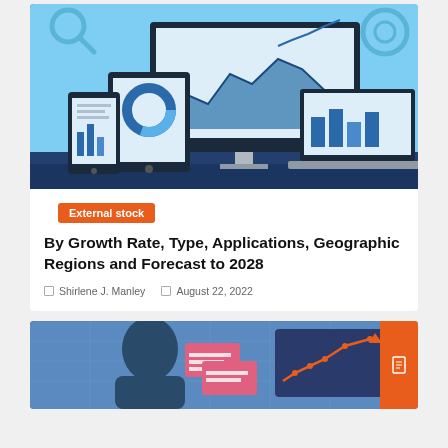[Figure (illustration): Hero banner illustration showing data analytics with desktop monitor displaying area chart and line chart, laptop with bar chart, tablet with donut chart, and mobile phone with bar chart, all on a blue background with gear and magnifier icons]
External stock
By Growth Rate, Type, Applications, Geographic Regions and Forecast to 2028
Shirlene J. Manley   August 22, 2022
[Figure (illustration): Partial view of a second article card showing an analytics illustration with a figure, pink document cards, and a line chart on a dark blue background, with an orange scroll-to-top button on the right]